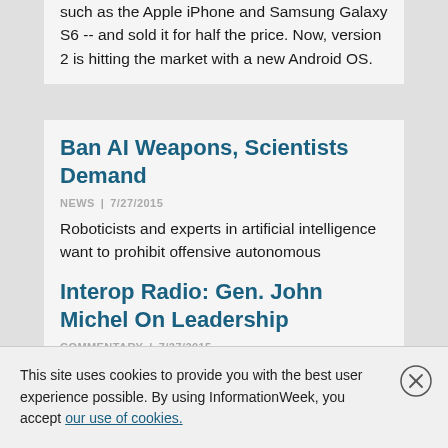such as the Apple iPhone and Samsung Galaxy S6 -- and sold it for half the price. Now, version 2 is hitting the market with a new Android OS.
Ban AI Weapons, Scientists Demand
NEWS | 7/27/2015
Roboticists and experts in artificial intelligence want to prohibit offensive autonomous weapons.
Interop Radio: Gen. John Michel On Leadership
COMMENTARY | 7/27/2015
Gen. John Michel joins us for the debut of our new show, Interop Radio's Business...
This site uses cookies to provide you with the best user experience possible. By using InformationWeek, you accept our use of cookies.